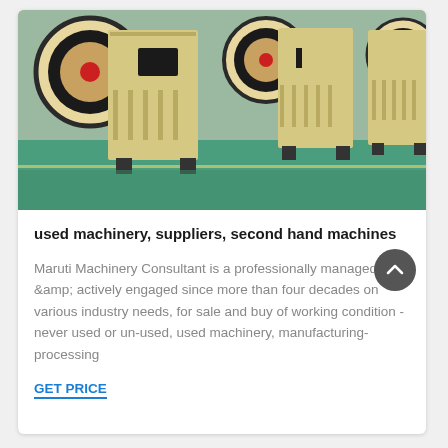[Figure (photo): Multiple large industrial jaw crusher machines with yellow/cream colored bodies and black flywheels arranged in a row on a green factory floor]
used machinery, suppliers, second hand machines
Maruti Machinery Consultant is a professionally managed &amp; actively engaged since more than four decades on various industry needs, for sale and buy of working condition - never used or un-used, used machinery, manufacturing-processing
GET PRICE